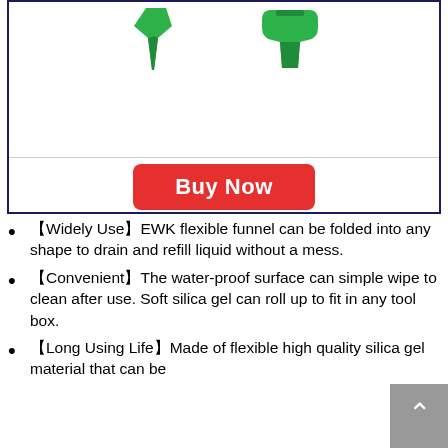[Figure (photo): Green flexible funnel product image showing two green silicone funnel shapes against white background, with a red Buy Now button below]
【Widely Use】EWK flexible funnel can be folded into any shape to drain and refill liquid without a mess.
【Convenient】The water-proof surface can simple wipe to clean after use. Soft silica gel can roll up to fit in any tool box.
【Long Using Life】Made of flexible high quality silica gel material that can be